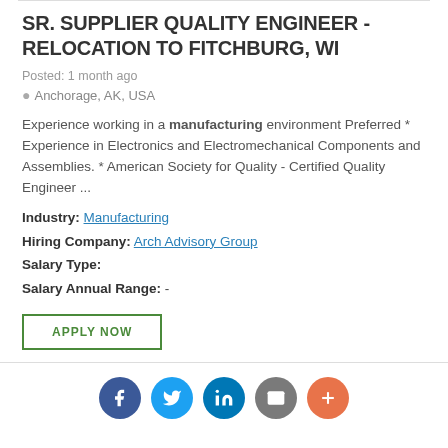SR. SUPPLIER QUALITY ENGINEER - RELOCATION TO FITCHBURG, WI
Posted: 1 month ago
Anchorage, AK, USA
Experience working in a manufacturing environment Preferred * Experience in Electronics and Electromechanical Components and Assemblies. * American Society for Quality - Certified Quality Engineer ...
Industry: Manufacturing
Hiring Company: Arch Advisory Group
Salary Type:
Salary Annual Range: -
APPLY NOW
[Figure (infographic): Social share icons: Facebook (dark blue), Twitter (light blue), LinkedIn (blue), Email (gray), Plus/More (orange-red)]